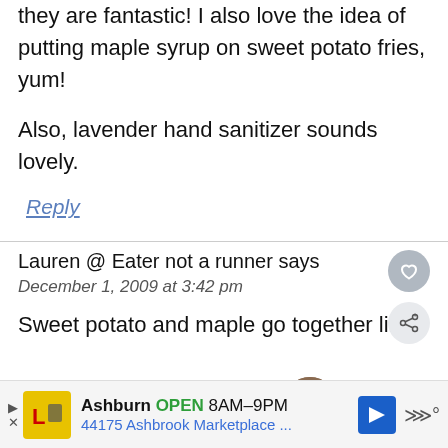they are fantastic! I also love the idea of putting maple syrup on sweet potato fries, yum!
Also, lavender hand sanitizer sounds lovely.
Reply
Lauren @ Eater not a runner says
December 1, 2009 at 3:42 pm
Sweet potato and maple go together like
Ashburn OPEN 8AM–9PM 44175 Ashbrook Marketplace ...